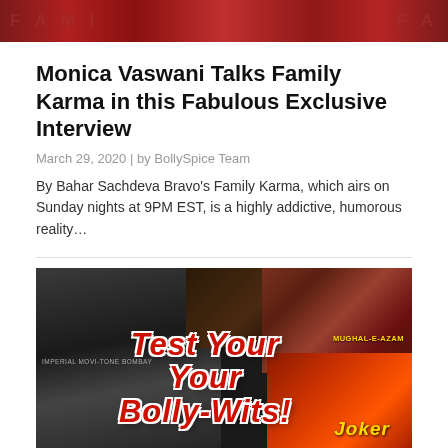[Figure (photo): Top banner image showing decorative red floral/pattern background with partial text 'FAMI' and 'FA' visible]
Monica Vaswani Talks Family Karma in this Fabulous Exclusive Interview
March 29, 2020 | by BollySpice Team
By Bahar Sachdeva Bravo's Family Karma, which airs on Sunday nights at 9PM EST, is a highly addictive, humorous reality…
[Figure (photo): Collage image of Bollywood movie posters with overlay text 'Test Your Your Bolly-Wits!' in bold red lettering. Includes vintage Bollywood film posters, black and white film stills, and text references to Mughal-e-Azam and Joker.]